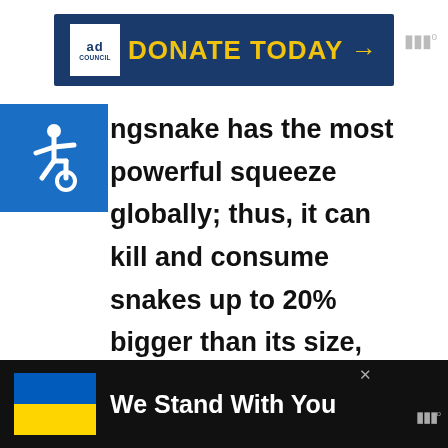[Figure (screenshot): Ad Council 'DONATE TODAY' banner in dark blue with yellow text]
[Figure (logo): Accessibility wheelchair icon in blue square]
ngsnake has the most powerful squeeze globally; thus, it can kill and consume snakes up to 20% bigger than its size, including other constrictors. Venomous snakes like rattlesnakes and cottonmouths are no exception, as a kingsnake is immune to pit viper venom.
[Figure (screenshot): Ukraine flag 'We Stand With You' advertisement banner at bottom]